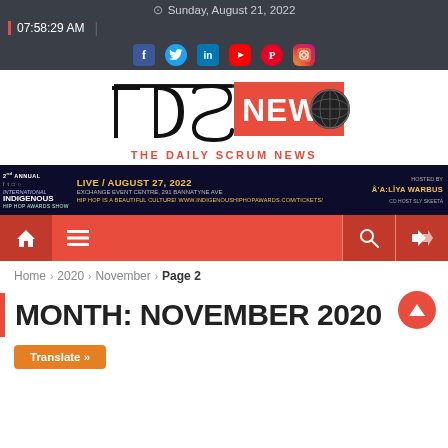Sunday, August 21, 2022 | 07:58:29 AM
[Figure (logo): TDS News - The Daily Scrum News logo with red rectangle and globe]
[Figure (infographic): 2nd Annual International Indigenous Hip Hop Awards Show banner - Live August 27, 2022, Exchange Event Centre, 291 Bannatyne Ave, Hosted by Â'a:Lîya Warbus, Co Host Sly Skeeta]
[Figure (infographic): Navigation bar with home icon, menu icon, search icon, and shuffle icon]
Home > 2020 > November > Page 2
MONTH: NOVEMBER 2020